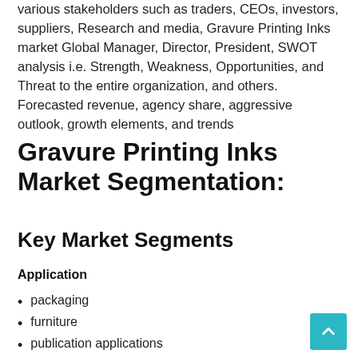various stakeholders such as traders, CEOs, investors, suppliers, Research and media, Gravure Printing Inks market Global Manager, Director, President, SWOT analysis i.e. Strength, Weakness, Opportunities, and Threat to the entire organization, and others. Forecasted revenue, agency share, aggressive outlook, growth elements, and trends
Gravure Printing Inks Market Segmentation:
Key Market Segments
Application
packaging
furniture
publication applications